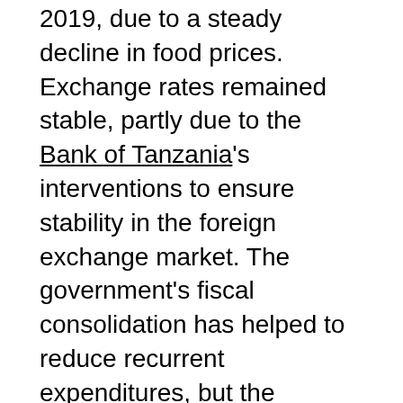2019, due to a steady decline in food prices. Exchange rates remained stable, partly due to the Bank of Tanzania's interventions to ensure stability in the foreign exchange market. The government's fiscal consolidation has helped to reduce recurrent expenditures, but the adverse effect of COVID–19 on revenues increased the fiscal deficit slightly from 2.0% of GDP in 2019 to 2.3% of GDP in 2020—which still is lower than the government target of 5%.
Mining, a key driver of Tanzania's economy
Mining is a critical segment of the country's economy, accounting for over 50% of the country's economy. From Gold and Diamonds to Gemstone, nickel, copper, and titanium, the country is rich in